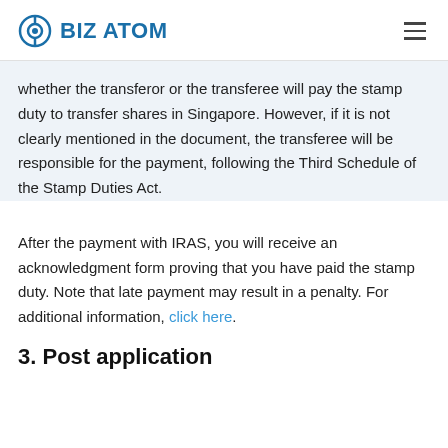BIZ ATOM
whether the transferor or the transferee will pay the stamp duty to transfer shares in Singapore. However, if it is not clearly mentioned in the document, the transferee will be responsible for the payment, following the Third Schedule of the Stamp Duties Act.
After the payment with IRAS, you will receive an acknowledgment form proving that you have paid the stamp duty. Note that late payment may result in a penalty. For additional information, click here.
3. Post application